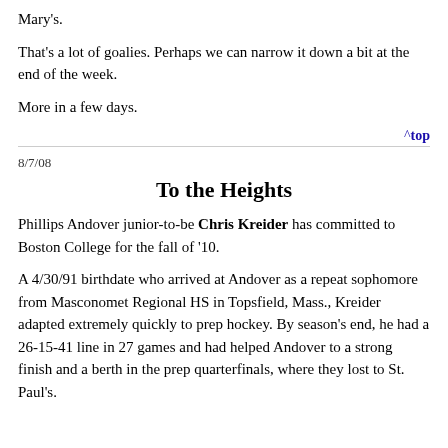Mary's.
That's a lot of goalies. Perhaps we can narrow it down a bit at the end of the week.
More in a few days.
^top
8/7/08
To the Heights
Phillips Andover junior-to-be Chris Kreider has committed to Boston College for the fall of ’10.
A 4/30/91 birthdate who arrived at Andover as a repeat sophomore from Masconomet Regional HS in Topsfield, Mass., Kreider adapted extremely quickly to prep hockey. By season’s end, he had a 26-15-41 line in 27 games and had helped Andover to a strong finish and a berth in the prep quarterfinals, where they lost to St. Paul’s.